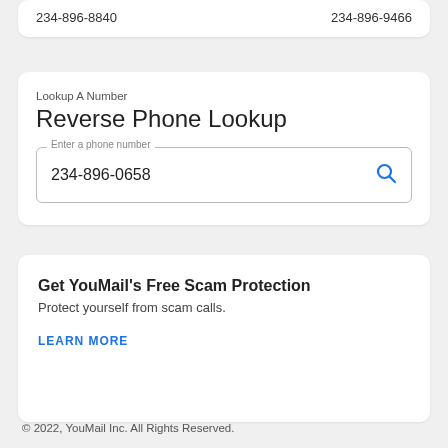234-896-8840   234-896-9466
Lookup A Number
Reverse Phone Lookup
234-896-0658
Get YouMail's Free Scam Protection
Protect yourself from scam calls.
LEARN MORE
© 2022, YouMail Inc. All Rights Reserved.